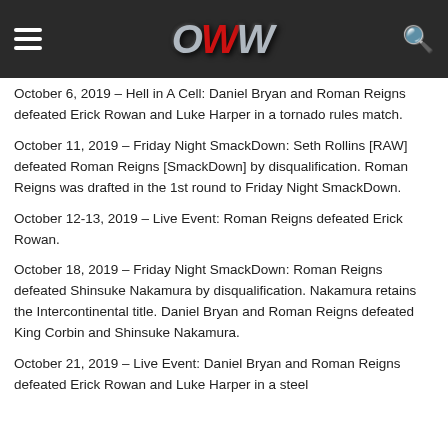OWW
October 6, 2019 – Hell in A Cell: Daniel Bryan and Roman Reigns defeated Erick Rowan and Luke Harper in a tornado rules match.
October 11, 2019 – Friday Night SmackDown: Seth Rollins [RAW] defeated Roman Reigns [SmackDown] by disqualification. Roman Reigns was drafted in the 1st round to Friday Night SmackDown.
October 12-13, 2019 – Live Event: Roman Reigns defeated Erick Rowan.
October 18, 2019 – Friday Night SmackDown: Roman Reigns defeated Shinsuke Nakamura by disqualification. Nakamura retains the Intercontinental title. Daniel Bryan and Roman Reigns defeated King Corbin and Shinsuke Nakamura.
October 21, 2019 – Live Event: Daniel Bryan and Roman Reigns defeated Erick Rowan and Luke Harper in a steel